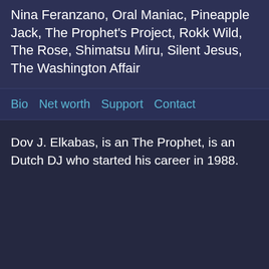Nina Feranzano, Oral Maniac, Pineapple Jack, The Prophet's Project, Rokk Wild, The Rose, Shimatsu Miru, Silent Jesus, The Washington Affair
Bio  Net worth  Support  Contact
Dov J. Elkabas, is an The Prophet, is an Dutch DJ who started his career in 1988.